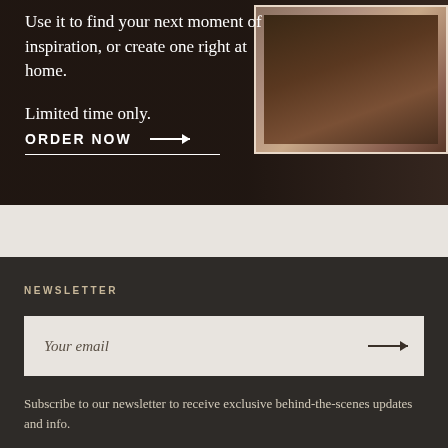Use it to find your next moment of inspiration, or create one right at home.
Limited time only.
ORDER NOW →
[Figure (photo): Photo of a magazine or book on a wooden surface with warm tones]
NEWSLETTER
Your email →
Subscribe to our newsletter to receive exclusive behind-the-scenes updates and info.
FOLLOW US